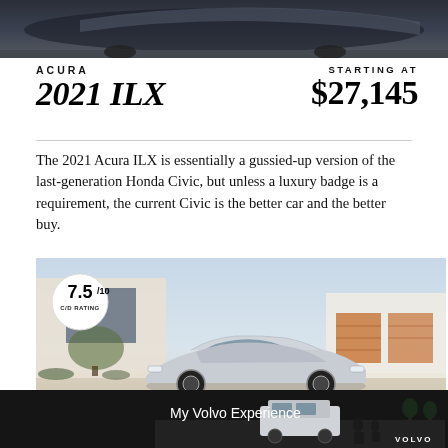[Figure (photo): Top portion of a car image, dark colored vehicle in motion]
ACURA 2021 ILX
STARTING AT $27,145
The 2021 Acura ILX is essentially a gussied-up version of the last-generation Honda Civic, but unless a luxury badge is a requirement, the current Civic is the better car and the better buy.
[Figure (photo): 2021 Acura ILX silver sports car parked in front of a modern building, with a C/D rating badge of 7.5/10 overlaid in the top left corner]
[Figure (photo): Advertisement banner: My Volvo Experience with Volvo SUV and people silhouettes, Volvo logo]